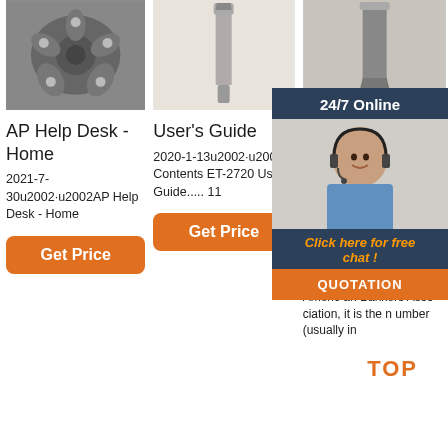[Figure (photo): Metal drill bit or mechanical part, gray metallic, top-down view]
[Figure (photo): Elongated metal tool or chisel, upright view, light background]
[Figure (photo): Metal flat tool or chisel, upright view, gray background]
AP Help Desk - Home
2021-7-30u2002·u2002AP Help Desk - Home
User's Guide
2020-1-13u2002·u20023 Contents ET-2720 User's Guide..... 11
Eso Te Ph FN Ag
202 2·u2 umber-- Originated by the American Bankers Association, it is the number (usually in
Get Price
Get Price
24/7 Online
Click here for free chat !
QUOTATION
TOP